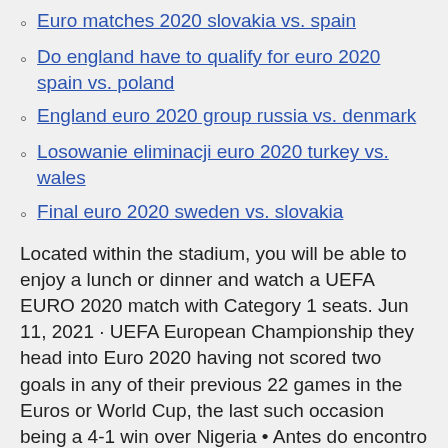Euro matches 2020 slovakia vs. spain
Do england have to qualify for euro 2020 spain vs. poland
England euro 2020 group russia vs. denmark
Losowanie eliminacji euro 2020 turkey vs. wales
Final euro 2020 sweden vs. slovakia
Located within the stadium, you will be able to enjoy a lunch or dinner and watch a UEFA EURO 2020 match with Category 1 seats. Jun 11, 2021 · UEFA European Championship they head into Euro 2020 having not scored two goals in any of their previous 22 games in the Euros or World Cup, the last such occasion being a 4-1 win over Nigeria • Antes do encontro da primeira jornada com a Finlândia, o registo da Dinamarca em